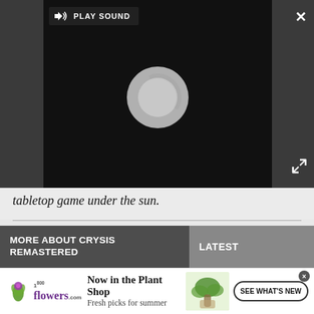[Figure (screenshot): Video player with dark background showing a loading spinner and PLAY SOUND button. Close (X) button top right, expand button bottom right.]
tabletop game under the sun.
MORE ABOUT CRYSIS REMASTERED
LATEST
[Figure (photo): Crysis Remastered game artwork showing an armored soldier with weapons]
[Figure (photo): Hand holding a phone showing Wordle game, with keyboard in background]
[Figure (advertisement): 1-800-Flowers ad: Now in the Plant Shop - Fresh picks for summer - SEE WHAT'S NEW button]